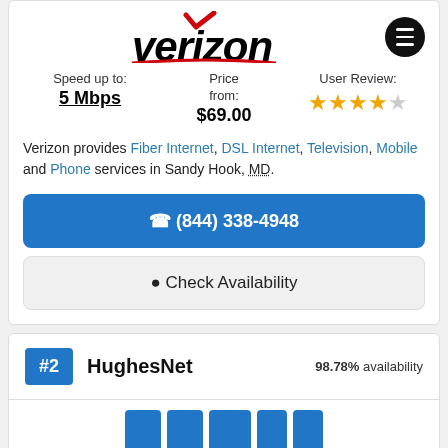[Figure (logo): Verizon logo with red checkmark and black italic bold text]
Speed up to: 5 Mbps
Price from: $69.00
User Review: 3.5 stars out of 5
Verizon provides Fiber Internet, DSL Internet, Television, Mobile and Phone services in Sandy Hook, MD.
☎ (844) 338-4948
📍 Check Availability
#2 HughesNet 98.78% availability